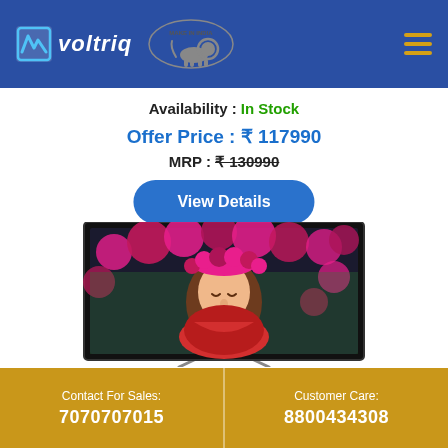Voltriq — Make in India
Availability : In Stock
Offer Price : ₹ 117990
MRP : ₹ 130990
View Details
[Figure (photo): A large flat-screen LED television displaying a woman wearing a floral crown surrounded by pink roses. The TV has a thin black bezel and silver stand legs.]
Contact For Sales: 7070707015 | Customer Care: 8800434308